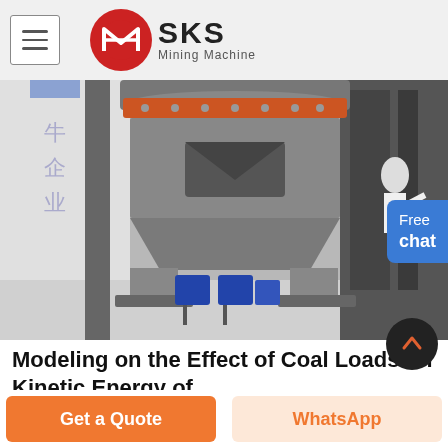SKS Mining Machine
[Figure (photo): Large industrial coal grinding/milling machine with a gray metal body, orange ring at the top, and blue hydraulic components at the base. Chinese characters visible on signage in the background. A person in white is partially visible at right edge.]
Modeling on the Effect of Coal Loads on Kinetic Energy of
Jul 9, , Their coal grinding efficiency is closely related the economy of , complete mathematical theory for
Get a Quote
WhatsApp